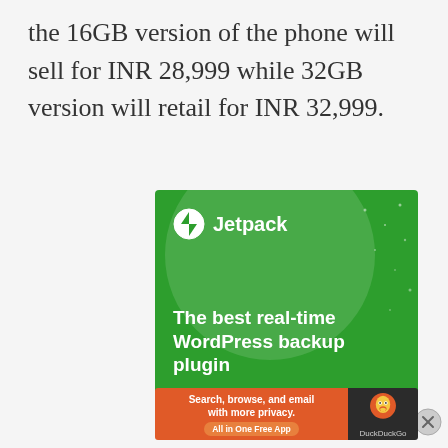the 16GB version of the phone will sell for INR 28,999 while 32GB version will retail for INR 32,999.
Advertisements
[Figure (illustration): Jetpack WordPress backup plugin advertisement. Green background with circular design element and stars. Shows Jetpack logo and text 'The best real-time WordPress backup plugin' with a 'Back up your site' button.]
Advertisements
[Figure (illustration): DuckDuckGo advertisement. Orange left panel with text 'Search, browse, and email with more privacy. All in One Free App' and dark right panel with DuckDuckGo logo.]